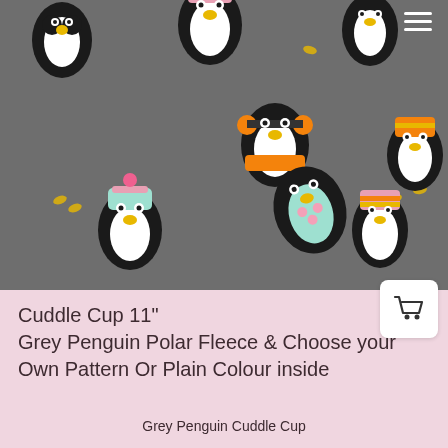[Figure (photo): Close-up photo of grey polar fleece fabric with cartoon penguin pattern. Penguins wearing colorful winter hats, scarves, and earmuffs in pink, orange, and teal colors on a dark grey background.]
Cuddle Cup 11"
Grey Penguin Polar Fleece & Choose your Own Pattern Or Plain Colour inside
Grey Penguin Cuddle Cup